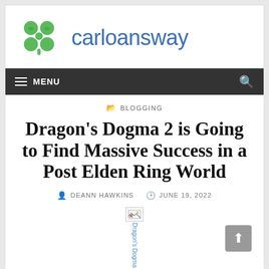[Figure (logo): Green four-leaf clover / grid logo icon for carloansway website]
carloansway
MENU
BLOGGING
Dragon's Dogma 2 is Going to Find Massive Success in a Post Elden Ring World
DEANN HAWKINS   JUNE 19, 2022
[Figure (photo): Broken image placeholder for Dragon's Dogma 2 article image, showing broken image icon with vertical alt text]